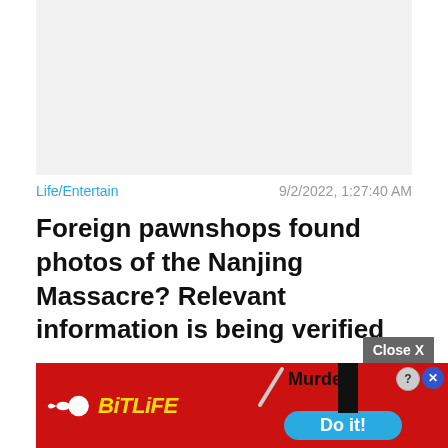[Figure (other): Gray placeholder image area at the top of a news article]
Life/Entertain    9/2/2022, 1:27:40 AM
Foreign pawnshops found photos of the Nanjing Massacre? Relevant information is being verified
[Figure (screenshot): BitLife mobile game advertisement banner with red background, BitLife logo, knife graphic, Murder label, Do it! button, and Close X button]